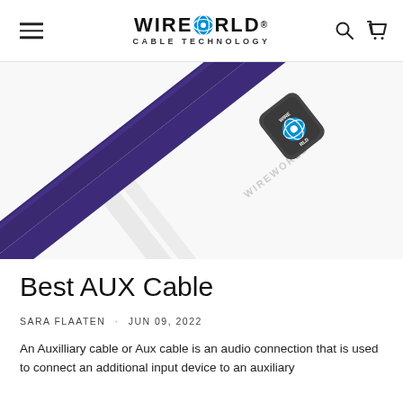WIREWORLD CABLE TECHNOLOGY
[Figure (photo): Close-up photo of a purple/blue flat AUX cable with a dark metallic connector showing the Wireworld logo, photographed diagonally against a white background with a faint shadow of a second cable]
Best AUX Cable
SARA FLAATEN · JUN 09, 2022
An Auxilliary cable or Aux cable is an audio connection that is used to connect an additional input device to an auxiliary